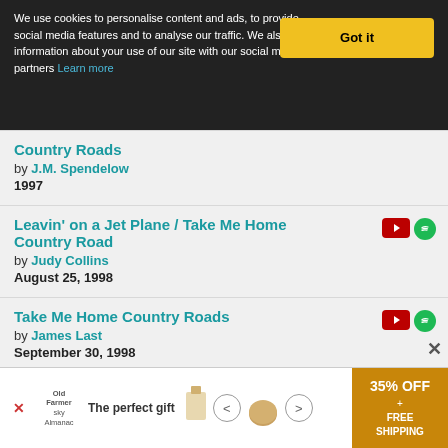We use cookies to personalise content and ads, to provide social media features and to analyse our traffic. We also share information about your use of our site with our social media, advertising and analytics partners Learn more
Country Roads by J.M. Spendelow 1997
Leavin' on a Jet Plane / Take Me Home Country Road by Judy Collins August 25, 1998
Take Me Home Country Roads by James Last September 30, 1998
Take Me Home Country Roads